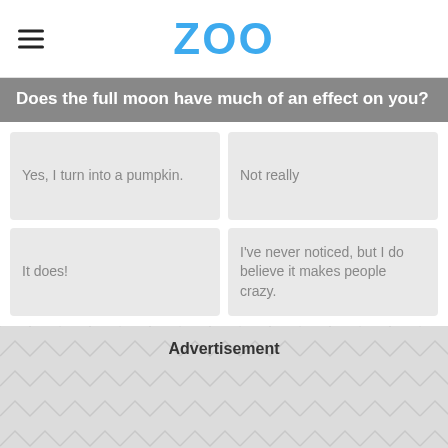ZOO
Does the full moon have much of an effect on you?
Yes, I turn into a pumpkin.
Not really
It does!
I've never noticed, but I do believe it makes people crazy.
Advertisement